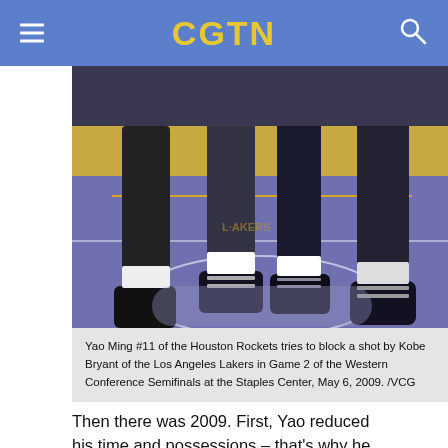CGTN
[Figure (photo): Basketball court scene — players' legs and sneakers mid-air during an NBA game, showing hardwood court floor with purple/gold Lakers markings]
Yao Ming #11 of the Houston Rockets tries to block a shot by Kobe Bryant of the Los Angeles Lakers in Game 2 of the Western Conference Semifinals at the Staples Center, May 6, 2009. /VCG
Then there was 2009. First, Yao reduced his time and possessions – that's why he was able to play 77 games. However, 19.7 points, 9.9 rebounds and 1.9 blocks per game was not an indicator of how great he was.
The Rockets won all the games in which Yao